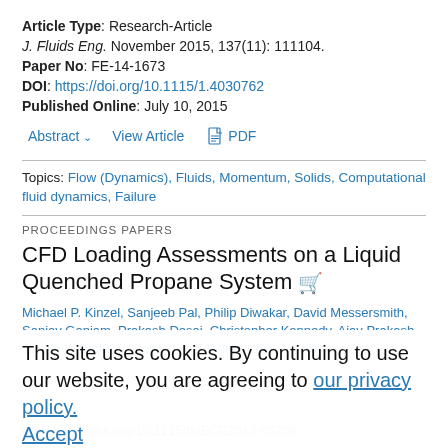Article Type: Research-Article
J. Fluids Eng. November 2015, 137(11): 111104.
Paper No: FE-14-1673
DOI: https://doi.org/10.1115/1.4030762
Published Online: July 10, 2015
Abstract   View Article   PDF
Topics: Flow (Dynamics), Fluids, Momentum, Solids, Computational fluid dynamics, Failure
PROCEEDINGS PAPERS
CFD Loading Assessments on a Liquid Quenched Propane System
Michael P. Kinzel, Sanjeeb Pal, Philip Diwakar, David Messersmith, Sanjay Ganiam, Prakash Desai, Christopher Kennedy, Ajay Prakash, Jonathan Barkoe, Leonard Joel Pelter, Kelly J. Knight
This site uses cookies. By continuing to use our website, you are agreeing to our privacy policy. Accept
DOI: https://doi.org/10.1115/IMECE2013-65209